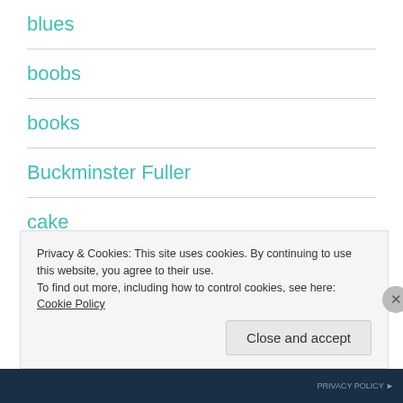blues
boobs
books
Buckminster Fuller
cake
cancer
Privacy & Cookies: This site uses cookies. By continuing to use this website, you agree to their use.
To find out more, including how to control cookies, see here: Cookie Policy
Close and accept